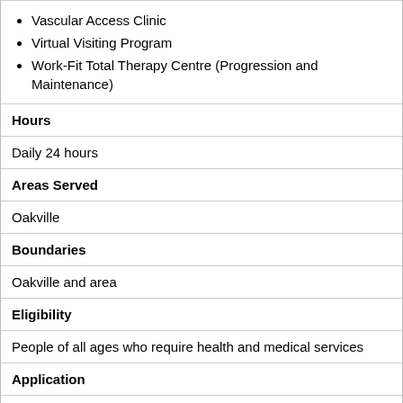Vascular Access Clinic
Virtual Visiting Program
Work-Fit Total Therapy Centre (Progression and Maintenance)
| Hours |
| Daily 24 hours |
| Areas Served |
| Oakville |
| Boundaries |
| Oakville and area |
| Eligibility |
| People of all ages who require health and medical services |
| Application |
| Walk in for emergency department * medical referral required for most other services |
| Languages |
| English |
| Fees |